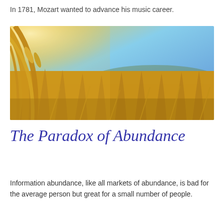In 1781, Mozart wanted to advance his music career.
[Figure (photo): Close-up photograph of golden wheat stalks in a field under a blue sky with warm sunlight, taken from a low angle with shallow depth of field.]
The Paradox of Abundance
Information abundance, like all markets of abundance, is bad for the average person but great for a small number of people.